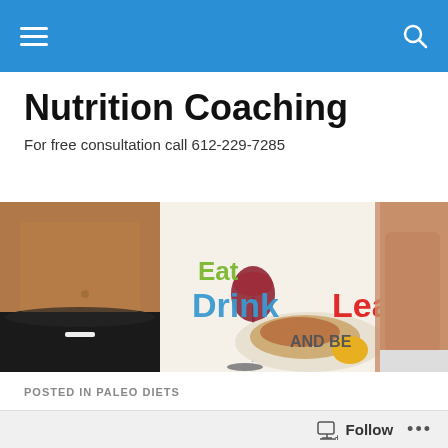Navigation bar with hamburger menu and search icon
Nutrition Coaching
For free consultation call 612-229-7285
[Figure (photo): Banner image showing fit bodies on left and right, a plate of food and glass of wine in center, fruits and vegetables, with text overlay reading 'Eat Drink Lean AND BE']
POSTED IN PALEO DIETS
Pineapple Cherry Smoothie with TJ's Light Coconut Milk
Follow ...